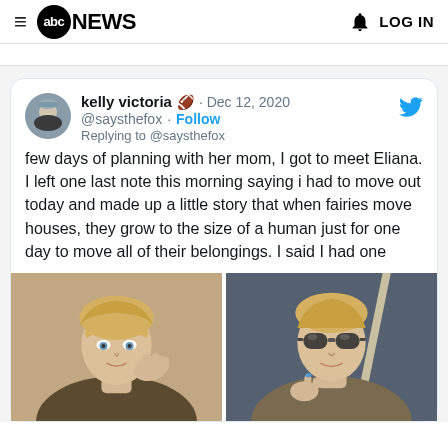ABC NEWS | LOG IN
kelly victoria 🏈 · Dec 12, 2020
@saysthefox · Follow
Replying to @saysthefox
few days of planning with her mom, I got to meet Eliana. I left one last note this morning saying i had to move out today and made up a little story that when fairies move houses, they grow to the size of a human just for one day to move all of their belongings. I said I had one
[Figure (photo): Two selfie photos of a blonde woman: left photo she holds her hand near her ear, right photo she wears sunglasses and makes a peace sign while in a car]